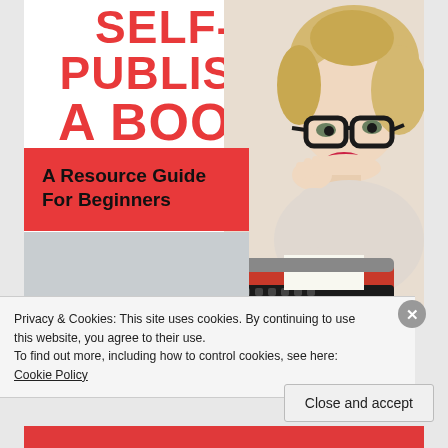SELF-PUBLISH A BOOK
A Resource Guide For Beginners
[Figure (photo): Book cover image showing a retro-styled blonde woman wearing large black glasses, resting her chin on her hand, sitting next to a red typewriter. Background is light/neutral. The cover has a red coral banner with subtitle text.]
Privacy & Cookies: This site uses cookies. By continuing to use this website, you agree to their use.
To find out more, including how to control cookies, see here: Cookie Policy
Close and accept